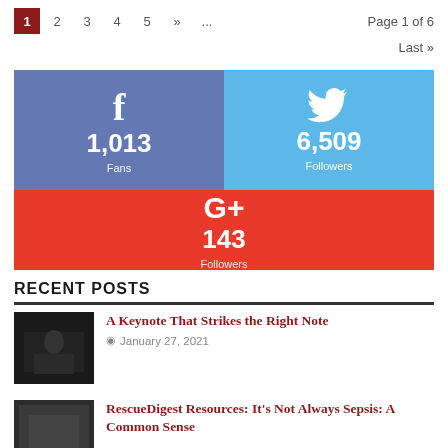1  2  3  4  5  »  ...  Page 1 of 6  Last »
[Figure (infographic): Social media follower counts: Facebook 1,013 Fans, Twitter 6,509 Followers, Google+ 143 Followers]
RECENT POSTS
A Keynote That Strikes the Right Note — January 27, 2021
RescueDigest Resources: It's Not Always Sepsis: A Common Sense Approach for ALS and BLS